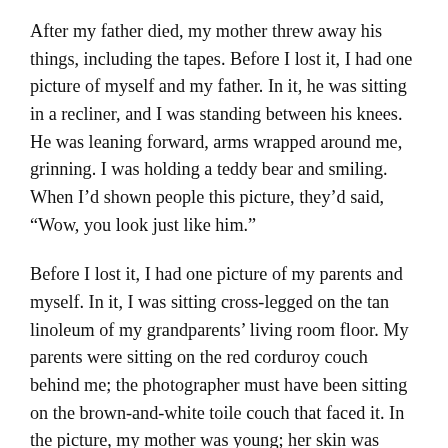After my father died, my mother threw away his things, including the tapes. Before I lost it, I had one picture of myself and my father. In it, he was sitting in a recliner, and I was standing between his knees. He was leaning forward, arms wrapped around me, grinning. I was holding a teddy bear and smiling. When I’d shown people this picture, they’d said, “Wow, you look just like him.”
Before I lost it, I had one picture of my parents and myself. In it, I was sitting cross-legged on the tan linoleum of my grandparents’ living room floor. My parents were sitting on the red corduroy couch behind me; the photographer must have been sitting on the brown-and-white toile couch that faced it. In the picture, my mother was young; her skin was unlined and her hair was cut short, and she hadn’t yet gotten the large,